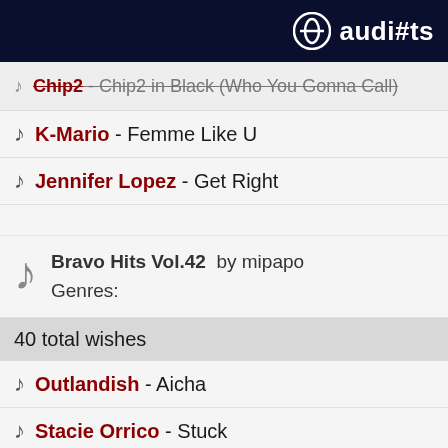audiarts
Chip2 - Chip2 in Black (Who You Gonna Call)
K-Mario - Femme Like U
Jennifer Lopez - Get Right
Bravo Hits Vol.42 by mipapo
Genres:
40 total wishes
Outlandish - Aicha
Stacie Orrico - Stuck
The Rasmus - In The Shadows
Sean Paul - Get Busy